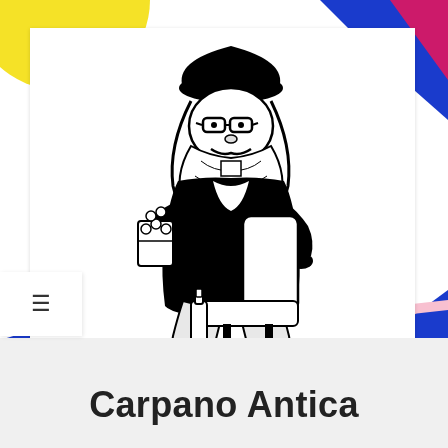[Figure (illustration): Colorful abstract background with patches of yellow, blue, red, pink, and magenta colors filling the upper portion of the page]
[Figure (illustration): Black and white illustration of a gnome character with a pointed hat, glasses, and beard, sitting in a movie theater chair, holding popcorn, with a bottle on the floor beside him]
CEO: Klaus the Gnome, Inc.
Carpano Antica